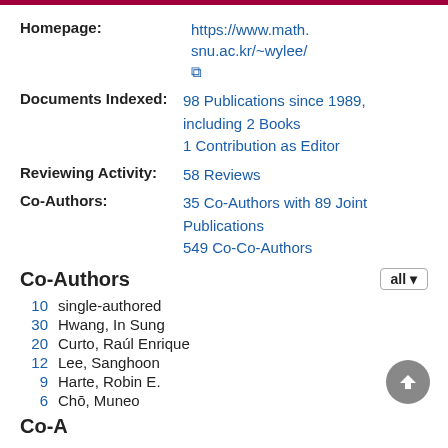Homepage: https://www.math.snu.ac.kr/~wylee/
Documents Indexed: 98 Publications since 1989, including 2 Books
1 Contribution as Editor
Reviewing Activity: 58 Reviews
Co-Authors: 35 Co-Authors with 89 Joint Publications
549 Co-Co-Authors
Co-Authors
10  single-authored
30  Hwang, In Sung
20  Curto, Raúl Enrique
12  Lee, Sanghoon
9  Harte, Robin E.
6  Chō, Muneo
Co-A…